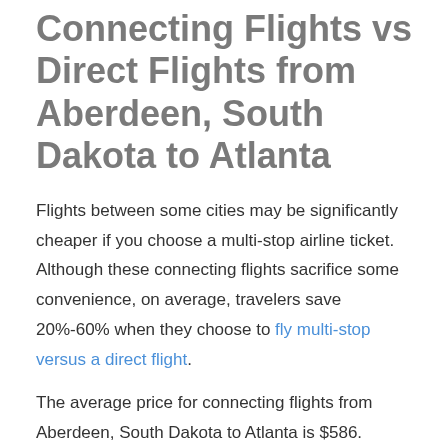Connecting Flights vs Direct Flights from Aberdeen, South Dakota to Atlanta
Flights between some cities may be significantly cheaper if you choose a multi-stop airline ticket. Although these connecting flights sacrifice some convenience, on average, travelers save 20%-60% when they choose to fly multi-stop versus a direct flight.
The average price for connecting flights from Aberdeen, South Dakota to Atlanta is $586.
The average price for direct flights from Aberdeen, South Dakota to Atlanta is $602.